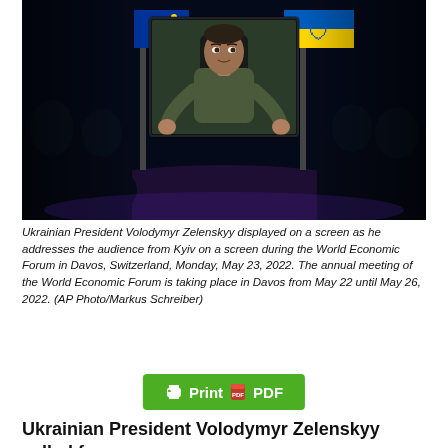[Figure (photo): Ukrainian President Volodymyr Zelenskyy displayed on a screen as he addresses the audience from Kyiv during the World Economic Forum in Davos, Switzerland. He is wearing a military green t-shirt, seated, with Ukrainian flags visible behind him. The audience is silhouetted in the foreground.]
Ukrainian President Volodymyr Zelenskyy displayed on a screen as he addresses the audience from Kyiv on a screen during the World Economic Forum in Davos, Switzerland, Monday, May 23, 2022. The annual meeting of the World Economic Forum is taking place in Davos from May 22 until May 26, 2022. (AP Photo/Markus Schreiber)
[Figure (other): Green Print/PDF button with printer and PDF icons]
Ukrainian President Volodymyr Zelenskyy called for